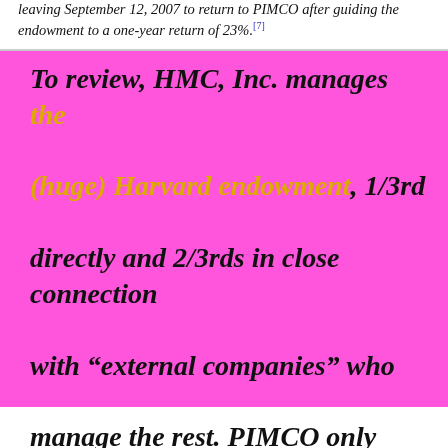leaving September 12, 2007 to return to PIMCO after guiding the endowment to a one-year return of 23%.[7]
To review, HMC, Inc. manages the (huge) Harvard endowment, 1/3rd directly and 2/3rds in close connection with "external companies" who manage the rest. PIMCO only counts because a manager of HMC (El-Erian) came from PIMCO. After he leaves, the